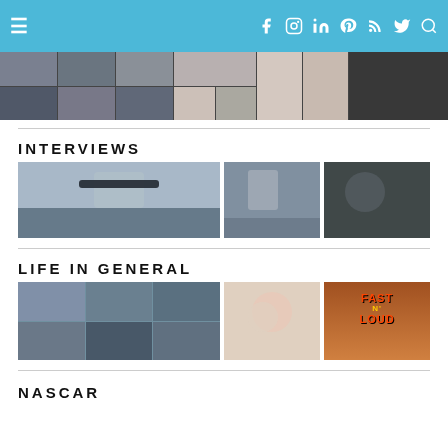Navigation bar with hamburger menu and social icons: Facebook, Instagram, LinkedIn, Pinterest, RSS, Twitter, Search
[Figure (photo): Top photo strip — collage of motorsport and social event images]
INTERVIEWS
[Figure (photo): Three interview thumbnail photos: NASCAR driver in sunglasses, person talking outside, driver in car]
LIFE IN GENERAL
[Figure (photo): Three Life in General thumbnail photos: motorsport collage, pink roses close-up, Fast N' Loud logo/show image]
NASCAR